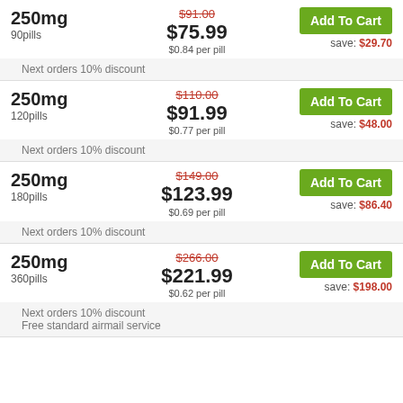| Dosage/Pills | Price | Action |
| --- | --- | --- |
| 250mg / 90pills | $91.00 (was) / $75.99 / $0.84 per pill | Add To Cart / save: $29.70 |
| 250mg / 120pills | $110.00 (was) / $91.99 / $0.77 per pill | Add To Cart / save: $48.00 |
| 250mg / 180pills | $149.00 (was) / $123.99 / $0.69 per pill | Add To Cart / save: $86.40 |
| 250mg / 360pills | $266.00 (was) / $221.99 / $0.62 per pill | Add To Cart / save: $198.00 |
Next orders 10% discount
Next orders 10% discount
Next orders 10% discount
Next orders 10% discount
Free standard airmail service